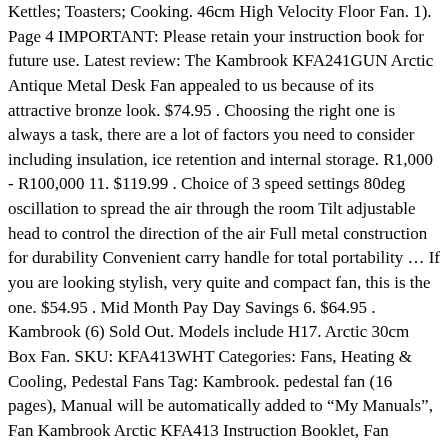Kettles; Toasters; Cooking. 46cm High Velocity Floor Fan. 1). Page 4 IMPORTANT: Please retain your instruction book for future use. Latest review: The Kambrook KFA241GUN Arctic Antique Metal Desk Fan appealed to us because of its attractive bronze look. $74.95 . Choosing the right one is always a task, there are a lot of factors you need to consider including insulation, ice retention and internal storage. R1,000 - R100,000 11. $119.99 . Choice of 3 speed settings 80deg oscillation to spread the air through the room Tilt adjustable head to control the direction of the air Full metal construction for durability Convenient carry handle for total portability … If you are looking stylish, very quite and compact fan, this is the one. $54.95 . Mid Month Pay Day Savings 6. $64.95 . Kambrook (6) Sold Out. Models include H17. Arctic 30cm Box Fan. SKU: KFA413WHT Categories: Fans, Heating & Cooling, Pedestal Fans Tag: Kambrook. pedestal fan (16 pages), Manual will be automatically added to "My Manuals", Fan Kambrook Arctic KFA413 Instruction Booklet, Fan